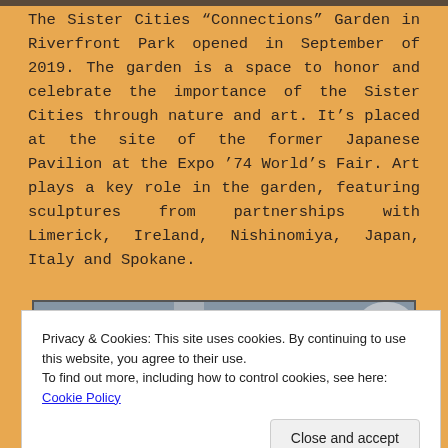The Sister Cities “Connections” Garden in Riverfront Park opened in September of 2019. The garden is a space to honor and celebrate the importance of the Sister Cities through nature and art. It’s placed at the site of the former Japanese Pavilion at the Expo ’74 World’s Fair. Art plays a key role in the garden, featuring sculptures from partnerships with Limerick, Ireland, Nishinomiya, Japan, Italy and Spokane.
[Figure (photo): Partial view of a photo at bottom of page, appears to show an outdoor garden or sculptural scene in black and white or muted tones.]
Privacy & Cookies: This site uses cookies. By continuing to use this website, you agree to their use.
To find out more, including how to control cookies, see here: Cookie Policy